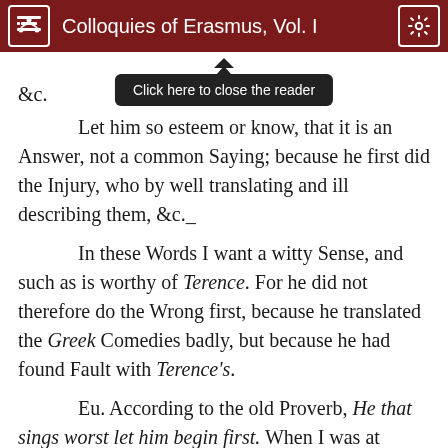Colloquies of Erasmus, Vol. I
&c.
    Let him so esteem or know, that it is an Answer, not a common Saying; because he first did the Injury, who by well translating and ill describing them, &c._
In these Words I want a witty Sense, and such as is worthy of Terence. For he did not therefore do the Wrong first, because he translated the Greek Comedies badly, but because he had found Fault with Terence's.
Eu. According to the old Proverb, He that sings worst let him begin first. When I was at London in Thomas Linacre's House, who is a Man